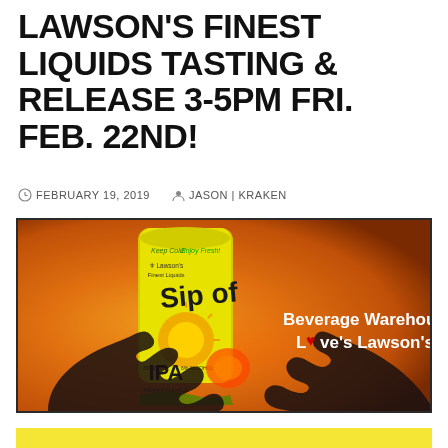LAWSON'S FINEST LIQUIDS TASTING & RELEASE 3-5PM FRI. FEB. 22ND!
FEBRUARY 19, 2019   JASON | KRAKEN
[Figure (photo): Photo of Lawson's Finest Liquids Sipof Sunshine IPA beer can being held up by two silhouetted hands forming a heart shape against an orange sunset background. Text overlay reads 'Beverage Warehouse Love's Lawson's' with a red heart replacing the 'o' in Love's.]
[Figure (other): Yellow banner/bar at the bottom of the page]